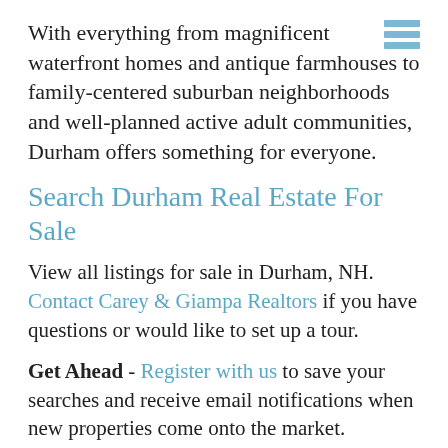With everything from magnificent waterfront homes and antique farmhouses to family-centered suburban neighborhoods and well-planned active adult communities, Durham offers something for everyone.
Search Durham Real Estate For Sale
View all listings for sale in Durham, NH. Contact Carey & Giampa Realtors if you have questions or would like to set up a tour.
Get Ahead - Register with us to save your searches and receive email notifications when new properties come onto the market.
List   |   Sort By: Price High to Low
1  2  >